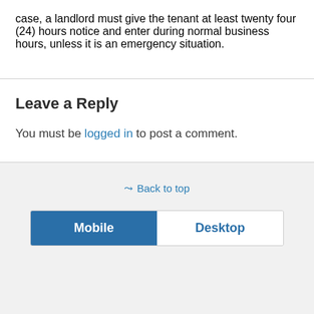case, a landlord must give the tenant at least twenty four (24) hours notice and enter during normal business hours, unless it is an emergency situation.
Leave a Reply
You must be logged in to post a comment.
⇑ Back to top
Mobile | Desktop